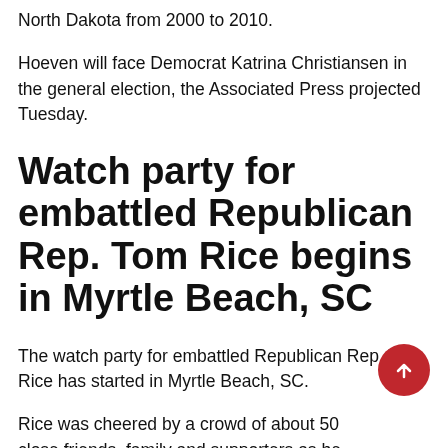North Dakota from 2000 to 2010.
Hoeven will face Democrat Katrina Christiansen in the general election, the Associated Press projected Tuesday.
Watch party for embattled Republican Rep. Tom Rice begins in Myrtle Beach, SC
The watch party for embattled Republican Rep. Tom Rice has started in Myrtle Beach, SC.
Rice was cheered by a crowd of about 50 close friends, family and supporters as he entered Brother's Grill, one of his favorite restaurants.
Rice is running a tight race against state Rep.